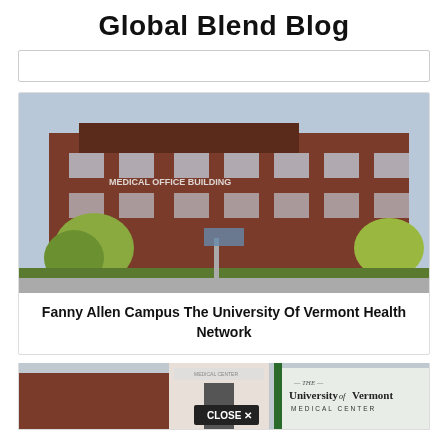Global Blend Blog
[Figure (photo): Search bar / input box area]
[Figure (photo): Photo of a red-brick Medical Office Building with trees in foreground — Fanny Allen Campus, University of Vermont Health Network]
Fanny Allen Campus The University Of Vermont Health Network
[Figure (photo): Partial photo of University of Vermont Medical Center entrance sign with a 'CLOSE X' button overlay visible]